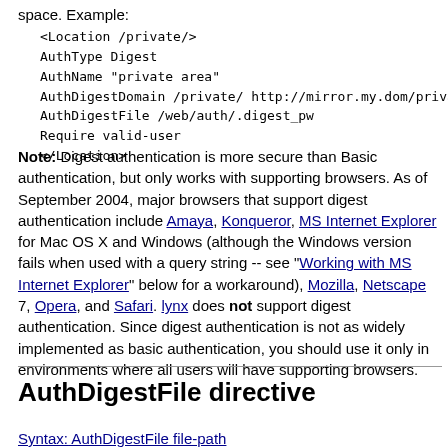space. Example:
<Location /private/>
AuthType Digest
AuthName "private area"
AuthDigestDomain /private/ http://mirror.my.dom/private
AuthDigestFile /web/auth/.digest_pw
Require valid-user
</Location>
Note: Digest authentication is more secure than Basic authentication, but only works with supporting browsers. As of September 2004, major browsers that support digest authentication include Amaya, Konqueror, MS Internet Explorer for Mac OS X and Windows (although the Windows version fails when used with a query string -- see "Working with MS Internet Explorer" below for a workaround), Mozilla, Netscape 7, Opera, and Safari. lynx does not support digest authentication. Since digest authentication is not as widely implemented as basic authentication, you should use it only in environments where all users will have supporting browsers.
AuthDigestFile directive
Syntax: AuthDigestFile file-path